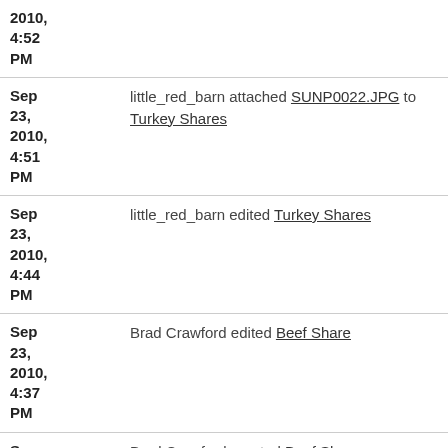| Date | Action |
| --- | --- |
| 2010, 4:52 PM |  |
| Sep 23, 2010, 4:51 PM | little_red_barn attached SUNP0022.JPG to Turkey Shares |
| Sep 23, 2010, 4:44 PM | little_red_barn edited Turkey Shares |
| Sep 23, 2010, 4:37 PM | Brad Crawford edited Beef Share |
| Sep 23, 2010, 4:37 PM | Brad Crawford created Beef Share |
| Sep ... | little_red_barn edited Egg... |